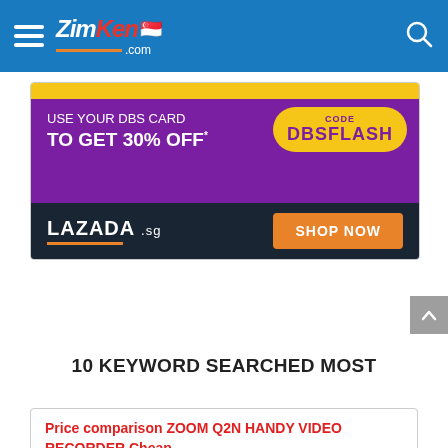ZimKen.com
[Figure (illustration): Lazada.sg advertisement banner: purple background with 'USE YOUR DBS CARD TO GET 30% OFF* CODE DBSFLASH', dark background with LAZADA .SG logo and SHOP NOW orange button]
10 KEYWORD SEARCHED MOST
Price comparison ZOOM Q2N HANDY VIDEO RECORDER Cheap